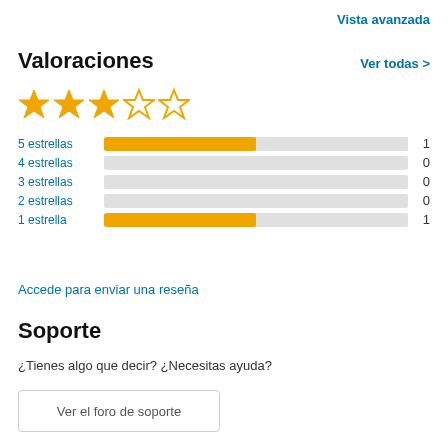Vista avanzada
Valoraciones
Ver todas >
[Figure (other): 3 filled gold stars and 2 empty stars, representing a 3-out-of-5 star rating]
| Rating | Bar | Count |
| --- | --- | --- |
| 5 estrellas | bar ~50% | 1 |
| 4 estrellas | bar 0% | 0 |
| 3 estrellas | bar 0% | 0 |
| 2 estrellas | bar 0% | 0 |
| 1 estrella | bar ~50% | 1 |
Accede para enviar una reseña
Soporte
¿Tienes algo que decir? ¿Necesitas ayuda?
Ver el foro de soporte